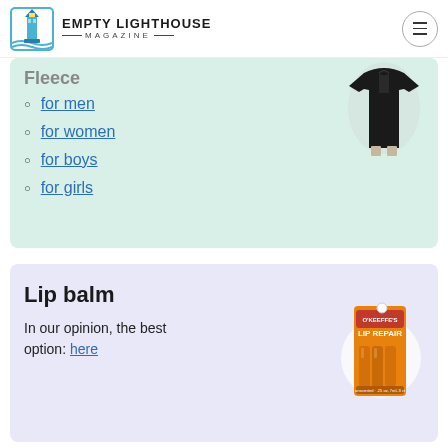EMPTY LIGHTHOUSE MAGAZINE
for men
for women
for boys
for girls
[Figure (photo): Black jacket worn by a person]
Lip balm
In our opinion, the best option: here
[Figure (photo): O'Keeffe's Lip Repair lip balm product packaging, orange color]
Standard footwear